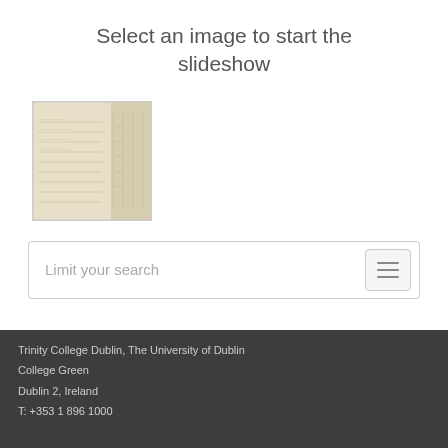Select an image to start the slideshow
[Figure (photo): Thumbnail of an aged/historical document page with faint handwritten text, shown as a small square preview image.]
Limit your search
Trinity College Dublin, The University of Dublin
College Green
Dublin 2, Ireland
T: +353 1 896 1000